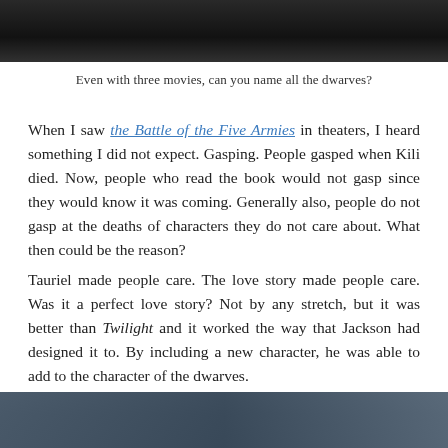[Figure (photo): Dark movie still from The Hobbit, showing a dimly lit scene with figures in the background]
Even with three movies, can you name all the dwarves?
When I saw the Battle of the Five Armies in theaters, I heard something I did not expect. Gasping. People gasped when Kili died. Now, people who read the book would not gasp since they would know it was coming. Generally also, people do not gasp at the deaths of characters they do not care about. What then could be the reason?
Tauriel made people care. The love story made people care. Was it a perfect love story? Not by any stretch, but it was better than Twilight and it worked the way that Jackson had designed it to. By including a new character, he was able to add to the character of the dwarves.
[Figure (photo): Movie still from The Hobbit showing a dramatic outdoor scene with mountains and sky]